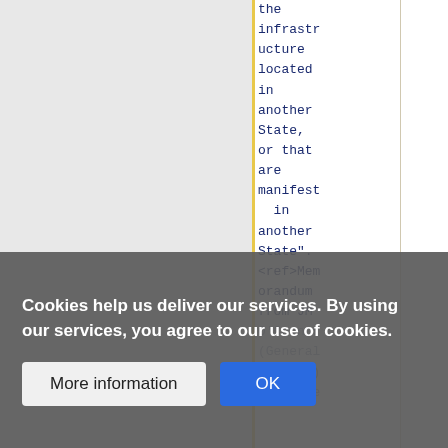the infrastructure located in another State, or that are manifest in another State". <ref>Memorandum from JM O'Connor (General Counsel) Departme
Cookies help us deliver our services. By using our services, you agree to our use of cookies.